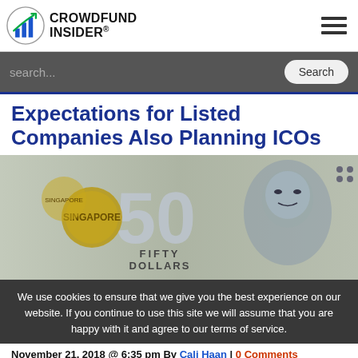CROWDFUND INSIDER
Expectations for Listed Companies Also Planning ICOs
[Figure (photo): Close-up photo of a Singapore fifty dollar banknote showing the numeral 50, national coat of arms, and a portrait of a man.]
We use cookies to ensure that we give you the best experience on our website. If you continue to use this site we will assume that you are happy with it and agree to our terms of service.
November 21, 2018 @ 6:35 pm By Cali Haan | 0 Comments
One of Asia's largest stock exchanges is putting the